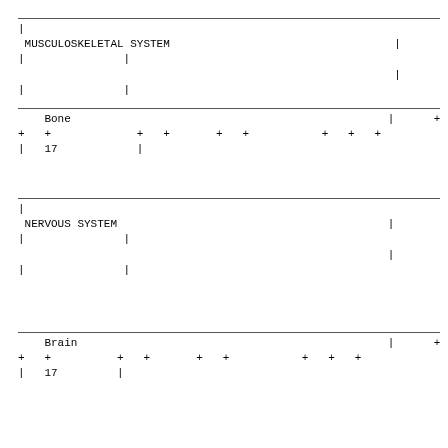| | |  |  |  |  |  |  |  |  | | |  |  |
| MUSCULOSKELETAL SYSTEM |  |  |  |  |  | | |  |  |
| | |  | | |  |  |  |  |  |  |  |  |  |
|  |  |  |  |  |  |  |  | | |  |  |
| | |  | | |  |  |  |  |  |  |  |  |  |
|  | Bone |  |  |  |  |  |  | | |  | + | + |
| + | + |  | + | + |  | + | + |  | + | + | + |
| | | 17 |  | | |  |  |  |  |  |  |  |  |
| | |  |  |  |  |  |  |  |  |  |  |  |
| NERVOUS SYSTEM |  |  |  |  |  | | |  |  |
| | |  | | |  |  |  |  |  |  |  |  |  |
|  |  |  |  |  |  |  |  | | |  |  |  |
| | |  | | |  |  |  |  |  |  |  |  |  |
|  | Brain |  |  |  |  |  |  | | |  | + | + |
| + | + |  | + | + |  | + | + |  | + | + | + |
| | | 17 |  | | |  |  |  |  |  |  |  |  |